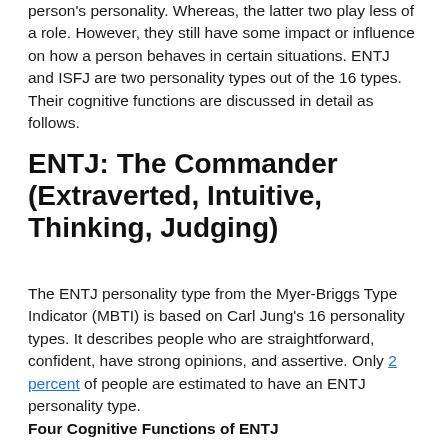person's personality. Whereas, the latter two play less of a role. However, they still have some impact or influence on how a person behaves in certain situations. ENTJ and ISFJ are two personality types out of the 16 types. Their cognitive functions are discussed in detail as follows.
ENTJ: The Commander (Extraverted, Intuitive, Thinking, Judging)
The ENTJ personality type from the Myer-Briggs Type Indicator (MBTI) is based on Carl Jung's 16 personality types. It describes people who are straightforward, confident, have strong opinions, and assertive. Only 2 percent of people are estimated to have an ENTJ personality type.
Four Cognitive Functions of ENTJ